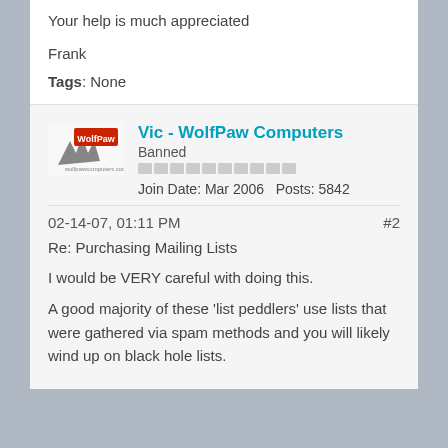Your help is much appreciated
Frank
Tags: None
Vic - WolfPaw Computers
Banned
Join Date: Mar 2006   Posts: 5842
02-14-07, 01:11 PM
#2
Re: Purchasing Mailing Lists
I would be VERY careful with doing this.
A good majority of these 'list peddlers' use lists that were gathered via spam methods and you will likely wind up on black hole lists.